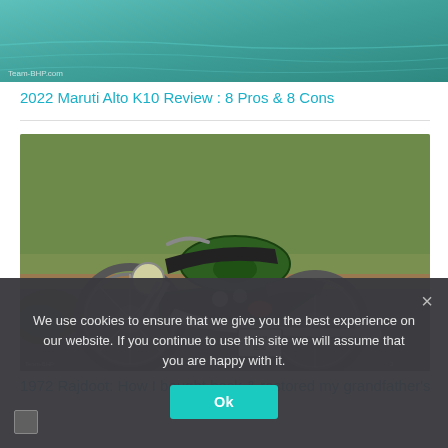[Figure (photo): Partial cropped photo of a car scene with teal/turquoise water or background, with a small watermark at bottom left reading 'Team-BHP.com']
2022 Maruti Alto K10 Review : 8 Pros & 8 Cons
[Figure (photo): Photo of a vintage 1972 Rajdoot motorcycle in green color parked on a dirt road with vegetation in the background. License plate visible reads 'MH08 8596'. Photo watermarks at bottom corners.]
1972 Rajdoot: How I bought back & restored my grandfather's
We use cookies to ensure that we give you the best experience on our website. If you continue to use this site we will assume that you are happy with it.